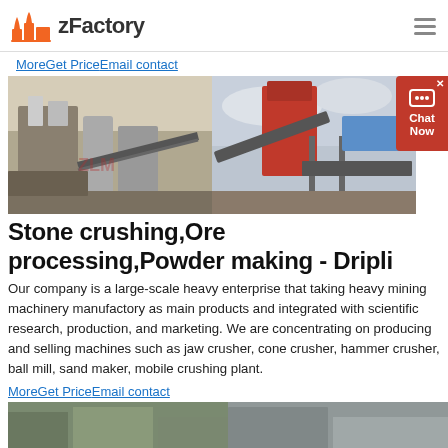zFactory
MoreGet PriceEmail contact
[Figure (photo): Industrial stone crushing and ore processing machinery at a mining site, showing two views: left side shows a large industrial plant with conveyors and silos, right side shows a red industrial crusher/feeder with conveyor belt structure against a cloudy sky.]
Stone crushing,Ore processing,Powder making - Dripli
Our company is a large-scale heavy enterprise that taking heavy mining machinery manufactory as main products and integrated with scientific research, production, and marketing. We are concentrating on producing and selling machines such as jaw crusher, cone crusher, hammer crusher, ball mill, sand maker, mobile crushing plant.
MoreGet PriceEmail contact
[Figure (photo): Partial view of industrial crushing/mining equipment at bottom of page.]